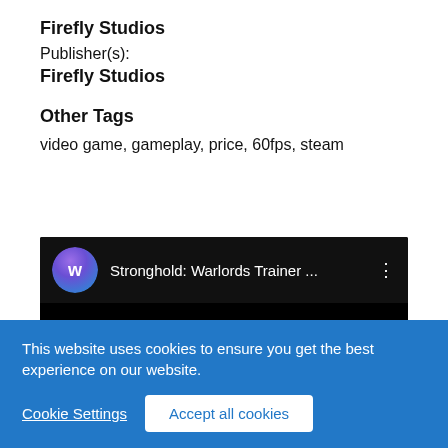Firefly Studios
Publisher(s):
Firefly Studios
Other Tags
video game, gameplay, price, 60fps, steam
[Figure (screenshot): Embedded video player showing 'Stronghold: Warlords Trainer ...' with a purple/blue circular logo icon on the left and a three-dot menu on the right, on a dark background.]
This website uses cookies to ensure you get the best experience on our website.
Cookie Settings
Accept all cookies